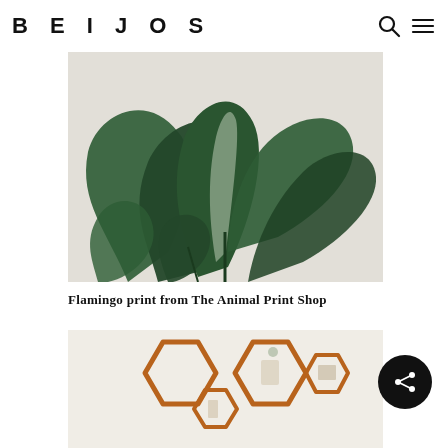BEIJOS
[Figure (photo): Large tropical plant with broad dark green leaves against a light beige/grey background]
Flamingo print from The Animal Print Shop
[Figure (photo): Wooden hexagonal shelf frames arranged on a light wall, with small decorative items inside]